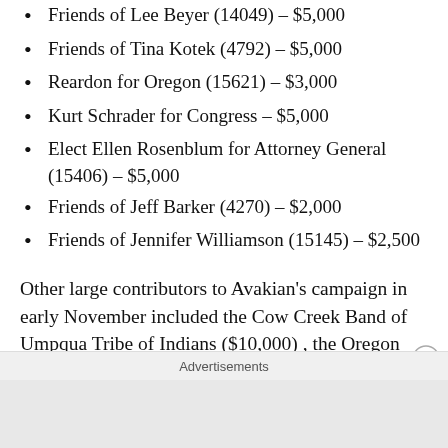Friends of Lee Beyer (14049) – $5,000
Friends of Tina Kotek (4792) – $5,000
Reardon for Oregon (15621) – $3,000
Kurt Schrader for Congress – $5,000
Elect Ellen Rosenblum for Attorney General (15406) – $5,000
Friends of Jeff Barker (4270) – $2,000
Friends of Jennifer Williamson (15145) – $2,500
Other large contributors to Avakian's campaign in early November included the Cow Creek Band of Umpqua Tribe of Indians ($10,000) , the Oregon Health Care
Advertisements